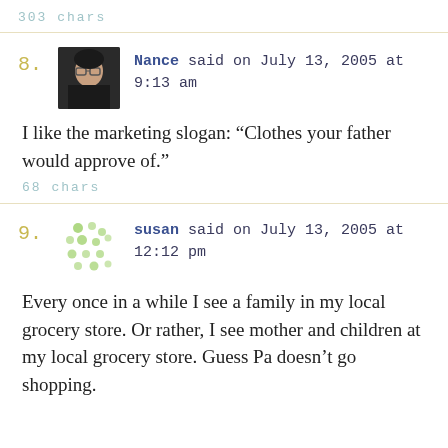303 chars
8. Nance said on July 13, 2005 at 9:13 am
I like the marketing slogan: “Clothes your father would approve of.”
68 chars
9. susan said on July 13, 2005 at 12:12 pm
Every once in a while I see a family in my local grocery store. Or rather, I see mother and children at my local grocery store. Guess Pa doesn’t go shopping.